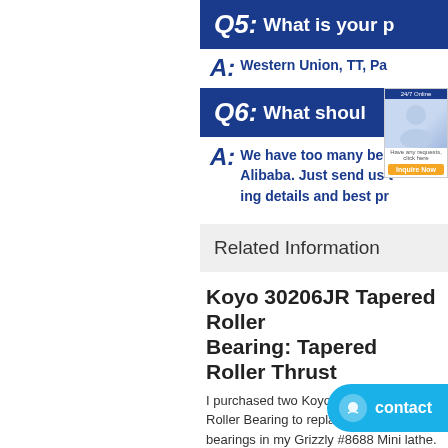Q5: What is your p
A: Western Union, TT, Pa
Q6: What shoul
A: We have too many be Alibaba. Just send us t ing details and best pr
Related Information
Koyo 30206JR Tapered Roller Bearing: Tapered Roller Thrust
I purchased two Koyo 30206JR Tapered Roller Bearing to replace the OEM bearings in my Grizzly #8688 Mini lathe. The change transmission gears were replacement in my lathe might be thought of as a simple task since the...